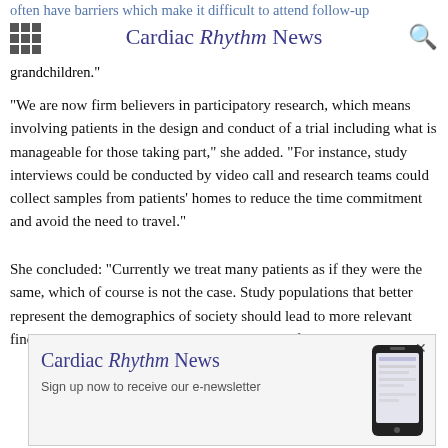Cardiac Rhythm News
often have barriers which make it difficult to attend follow-up appointments—such as working full time or caring for grandchildren.
"We are now firm believers in participatory research, which means involving patients in the design and conduct of a trial including what is manageable for those taking part," she added. "For instance, study interviews could be conducted by video call and research teams could collect samples from patients' homes to reduce the time commitment and avoid the need to travel."
She concluded: "Currently we treat many patients as if they were the same, which of course is not the case. Study populations that better represent the demographics of society should lead to more relevant findings that improve cardiovascular outcomes for everyone."
[Figure (other): Cardiac Rhythm News advertisement banner with logo and phone image, sign up for e-newsletter]